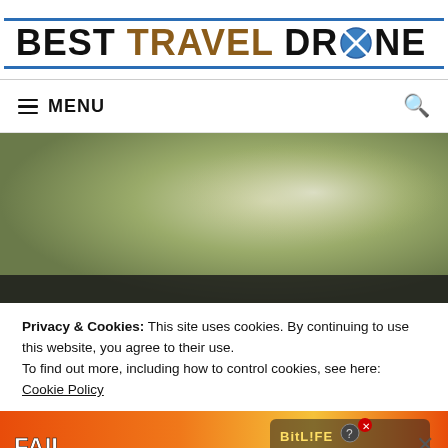[Figure (logo): Best Travel Drone logo with blue border lines, black and brown lettering, drone icon replacing the O]
MENU
[Figure (photo): Blurred outdoor background with green and grey tones, dark bar at bottom]
Privacy & Cookies: This site uses cookies. By continuing to use this website, you agree to their use.
To find out more, including how to control cookies, see here: Cookie Policy
[Figure (screenshot): BitLife advertisement banner with FAIL text, character, flames, sperm icon, BitLife logo, and START A NEW LIFE tagline]